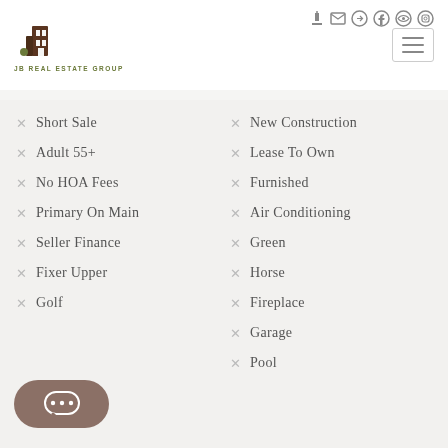[Figure (logo): JB Real Estate Group logo with brown building icon and olive text]
Short Sale
New Construction
Adult 55+
Lease To Own
No HOA Fees
Furnished
Primary On Main
Air Conditioning
Seller Finance
Green
Fixer Upper
Horse
Golf
Fireplace
Garage
Pool